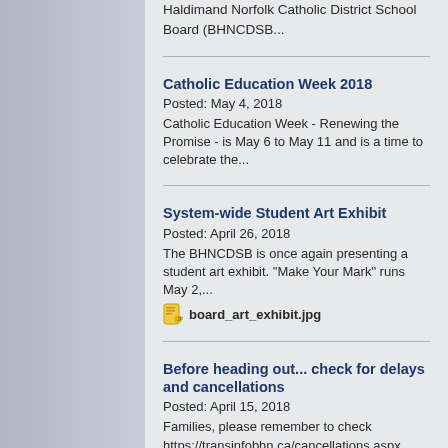Haldimand Norfolk Catholic District School Board (BHNCDSB...
Catholic Education Week 2018
Posted: May 4, 2018
Catholic Education Week - Renewing the Promise - is May 6 to May 11 and is a time to celebrate the...
System-wide Student Art Exhibit
Posted: April 26, 2018
The BHNCDSB is once again presenting a student art exhibit. "Make Your Mark" runs May 2,...
board_art_exhibit.jpg
Before heading out... check for delays and cancellations
Posted: April 15, 2018
Families, please remember to check https://transinfobhn.ca/cancellations.aspx